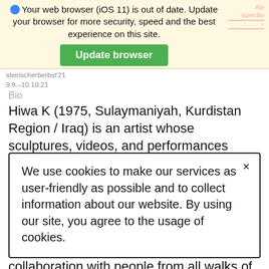Your web browser (iOS 11) is out of date. Update your browser for more security, speed and the best experience on this site.
Update browser
steirischerberbst'21
9.9.–10.10.21
Bio
Hiwa K (1975, Sulaymaniyah, Kurdistan Region / Iraq) is an artist whose sculptures, videos, and performances weave together his own biography with those of friends, family, and perfect strangers. Bringing difficult topics like war, migration, and the effects of neoliberalism down to earth, his work often has a participatory dimension and involves collaboration with people from all walks of life. He has had major exhibitions at the New Museum, New York (2018,
We use cookies to make our services as user-friendly as possible and to collect information about our website. By using our site, you agree to the usage of cookies.